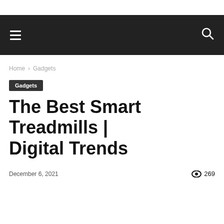≡  🔍
Home › Gadgets
Gadgets
The Best Smart Treadmills | Digital Trends
December 6, 2021  👁 269